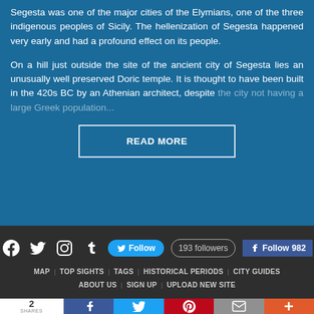Segesta was one of the major cities of the Elymians, one of the three indigenous peoples of Sicily. The hellenization of Segesta happened very early and had a profound effect on its people.
On a hill just outside the site of the ancient city of Segesta lies an unusually well preserved Doric temple. It is thought to have been built in the 420s BC by an Athenian architect, despite the city not having a large Greek population...
READ MORE
[Figure (infographic): Social media icons: Facebook, Twitter, Instagram, Tumblr. Twitter Follow button, 193 followers box, Facebook Follow 982 button.]
MAP | TOP SIGHTS | TAGS | HISTORICAL PERIODS | CITY GUIDES | ABOUT US | SIGN UP | UPLOAD NEW SITE
2 SHARES | Facebook | Twitter | Pinterest | Email | More